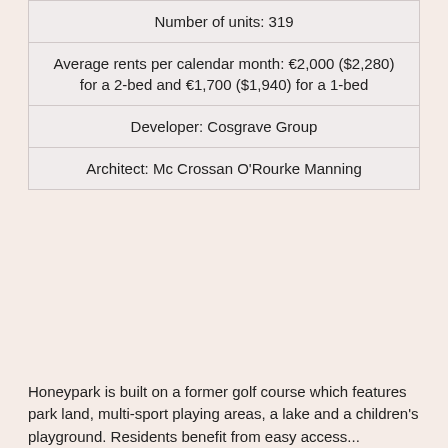| Number of units: 319 |
| Average rents per calendar month: €2,000 ($2,280) for a 2-bed and €1,700 ($1,940) for a 1-bed |
| Developer: Cosgrave Group |
| Architect: Mc Crossan O'Rourke Manning |
Honeypark is built on a former golf course which features park land, multi-sport playing areas, a lake and a children's playground. Residents benefit from easy access...